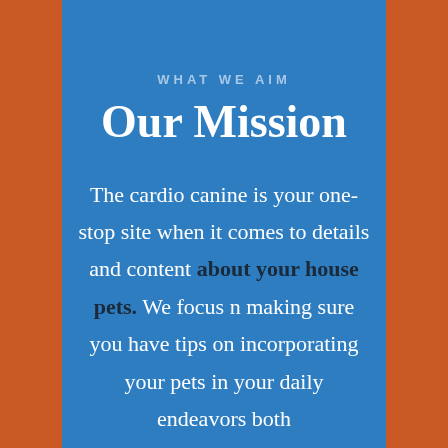WHAT WE AIM
Our Mission
The cardio canine is your one-stop site when it comes to details and content about your house pets. We focus n making sure you have tips on incorporating your pets in your daily endeavors both